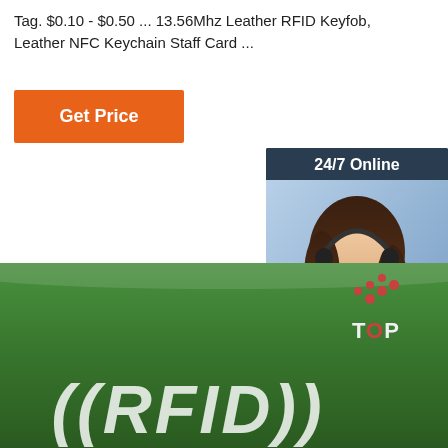Tag. $0.10 - $0.50 ... 13.56Mhz Leather RFID Keyfob, Leather NFC Keychain Staff Card ...
Get Price
[Figure (photo): Customer service chat widget with '24/7 Online' header, photo of smiling woman with headset, 'Click here for free chat!' text, and orange QUOTATION button on dark navy background]
[Figure (photo): Green RFID silicone wristband with white italic ((RFID)) text and TOP brand logo in upper right corner]